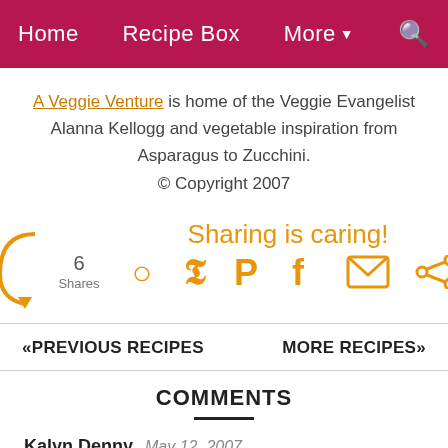Home | Recipe Box | More | Search
A Veggie Venture is home of the Veggie Evangelist Alanna Kellogg and vegetable inspiration from Asparagus to Zucchini. © Copyright 2007
[Figure (infographic): Sharing is caring! social sharing widget with 6 Shares count, Pinterest, Facebook, Email, and More share icons in orange]
«PREVIOUS RECIPES    MORE RECIPES»
COMMENTS
Kalyn Denny  May 12, 2007
Eggs benedict has always been one of my absolute favorites. I love anything about this